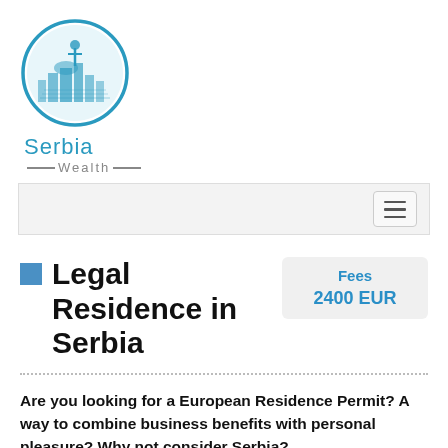[Figure (logo): Serbia Wealth circular logo with teal/blue color, depicting cityscape and monument inside a circle, with text 'Serbia' and '—Wealth—' below]
[Figure (screenshot): Navigation bar with hamburger menu icon on right side, light gray background]
Legal Residence in Serbia
Fees
2400 EUR
Are you looking for a European Residence Permit? A way to combine business benefits with personal pleasure? Why not consider Serbia?
The easiest, fastest and cheapest way to obtain a European Residence Permit is right here in business-friendly Serbia!